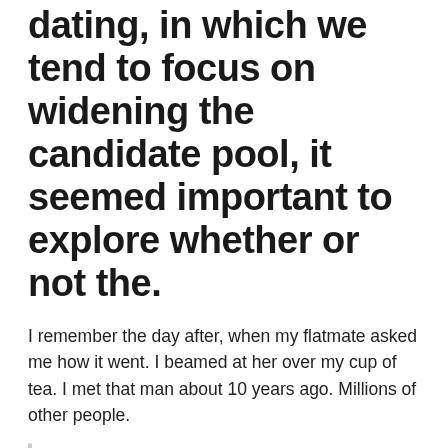dating, in which we tend to focus on widening the candidate pool, it seemed important to explore whether or not the.
I remember the day after, when my flatmate asked me how it went. I beamed at her over my cup of tea. I met that man about 10 years ago. Millions of other people.
I first created an OKCupid account in , and for nearly five years, online dating and I had a tumultuous, on-and-off relationship.
Ten years is a really long time to be single. Yes, I am aware that you have a co-worker whose best friend met her husband on Tinder like two days after she broke up with h